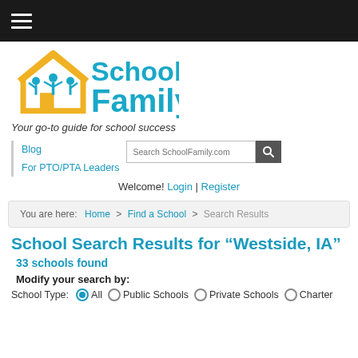[Figure (screenshot): SchoolFamily.com website screenshot showing navigation bar, logo, search results page for Westside IA]
School Search Results for “Westside, IA”
33 schools found
Modify your search by:
School Type: All  Public Schools  Private Schools  Charter